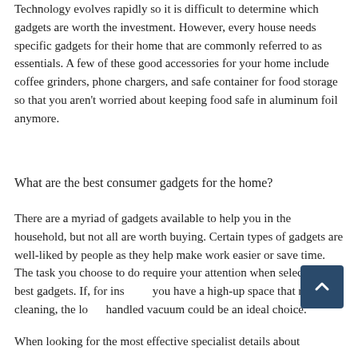Technology evolves rapidly so it is difficult to determine which gadgets are worth the investment. However, every house needs specific gadgets for their home that are commonly referred to as essentials. A few of these good accessories for your home include coffee grinders, phone chargers, and safe container for food storage so that you aren't worried about keeping food safe in aluminum foil anymore.
What are the best consumer gadgets for the home?
There are a myriad of gadgets available to help you in the household, but not all are worth buying. Certain types of gadgets are well-liked by people as they help make work easier or save time. The task you choose to do require your attention when selecting the best gadgets. If, for instance you have a high-up space that requires cleaning, the long-handled vacuum could be an ideal choice.
When looking for the most effective specialist details about